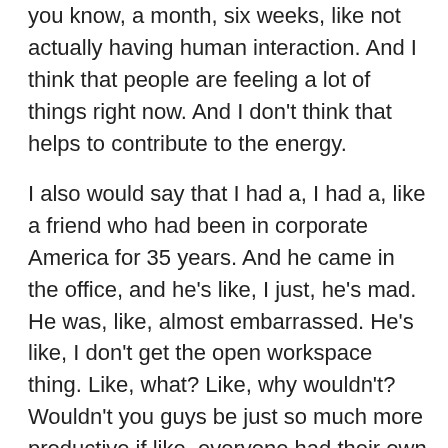you know, a month, six weeks, like not actually having human interaction. And I think that people are feeling a lot of things right now. And I don't think that helps to contribute to the energy.
I also would say that I had a, I had a, like a friend who had been in corporate America for 35 years. And he came in the office, and he's like, I just, he's mad. He was, like, almost embarrassed. He's like, I don't get the open workspace thing. Like, what? Like, why wouldn't? Wouldn't you guys be just so much more productive if like, everyone had their own office, or they were like in cubicles? And I told him, I was like, look, I'm like, if you're talking about having people be here for five years, 10 years, 15 years, 20 years, I'm like, it's never been about like,